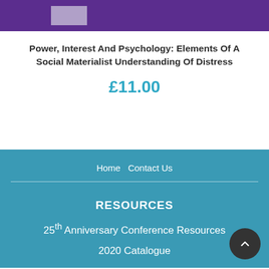[Figure (screenshot): Purple banner bar with a lighter purple rectangle shape on it]
Power, Interest And Psychology: Elements Of A Social Materialist Understanding Of Distress
£11.00
Home  Contact Us
RESOURCES
25th Anniversary Conference Resources
2020 Catalogue